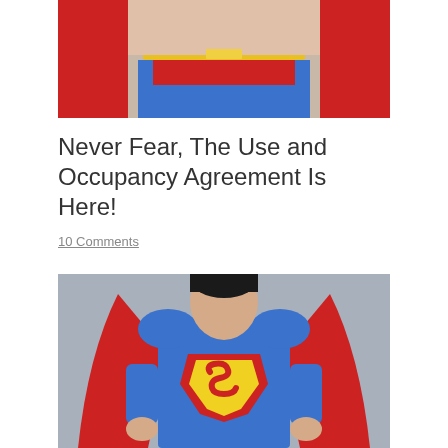[Figure (photo): Cropped photo of a person in a Superman costume, showing mid-body from waist up with red cape, blue suit with yellow belt, and red shorts.]
Never Fear, The Use and Occupancy Agreement Is Here!
10 Comments
[Figure (photo): Full upper-body photo of a person dressed as Superman in classic costume — blue suit with large yellow S shield outlined in red, red cape, standing with hands on hips against a grey background.]